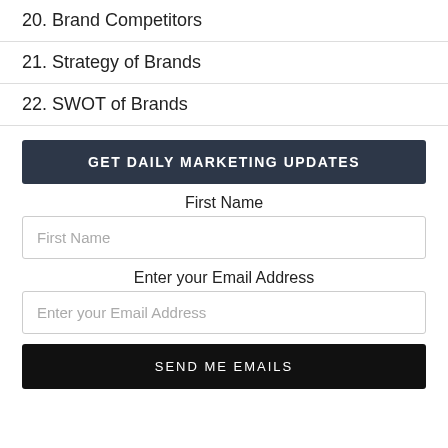20. Brand Competitors
21. Strategy of Brands
22. SWOT of Brands
GET DAILY MARKETING UPDATES
First Name
First Name
Enter your Email Address
Enter your Email Address
SEND ME EMAILS